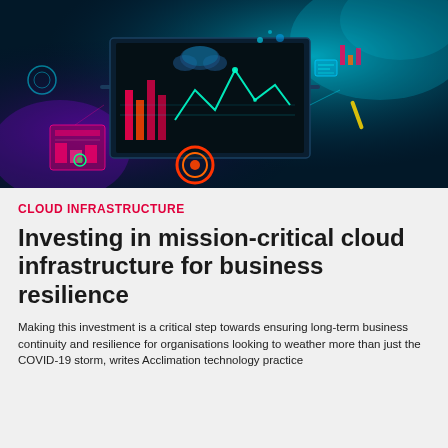[Figure (illustration): Digital technology illustration showing a laptop with cloud computing elements, holographic data displays, glowing neon charts and graphs, circuit patterns, and digital icons floating around it on a teal/dark blue background]
CLOUD INFRASTRUCTURE
Investing in mission-critical cloud infrastructure for business resilience
Making this investment is a critical step towards ensuring long-term business continuity and resilience for organisations looking to weather more than just the COVID-19 storm, writes Acclimation technology practice